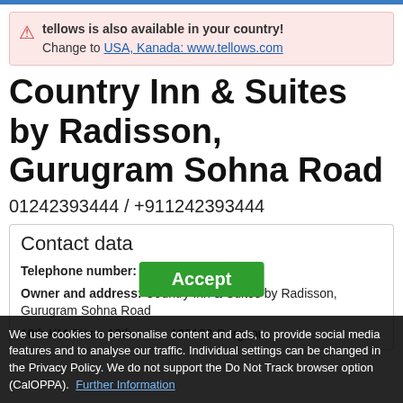tellows is also available in your country! Change to USA, Kanada: www.tellows.com
Country Inn & Suites by Radisson, Gurugram Sohna Road
01242393444 / +911242393444
Contact data
Telephone number: 01242393444
Owner and address: Country Inn & Suites by Radisson, Gurugram Sohna Road
10th KM Stone 10th ... 122102 Gurgaon
We use cookies to personalise content and ads, to provide social media features and to analyse our traffic. Individual settings can be changed in the Privacy Policy. We do not support the Do Not Track browser option (CalOPPA). Further Information